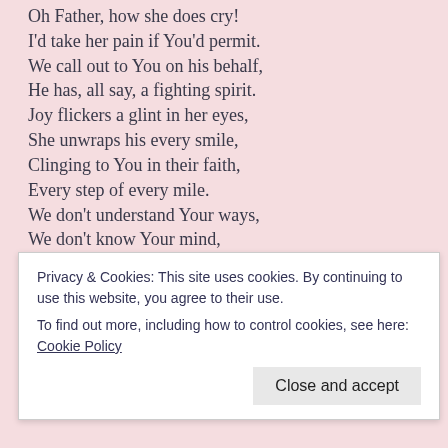Oh Father, how she does cry!
I'd take her pain if You'd permit.
We call out to You on his behalf,
He has, all say, a fighting spirit.
Joy flickers a glint in her eyes,
She unwraps his every smile,
Clinging to You in their faith,
Every step of every mile.
We don't understand Your ways,
We don't know Your mind,
Or the path still to climb,
All of which You Will help us find.
Here in our Cottage-by-the-Sea,
We seek Your special peace,
We offer our prayers,
Holy Spirit comfort us please.
Privacy & Cookies: This site uses cookies. By continuing to use this website, you agree to their use.
To find out more, including how to control cookies, see here: Cookie Policy